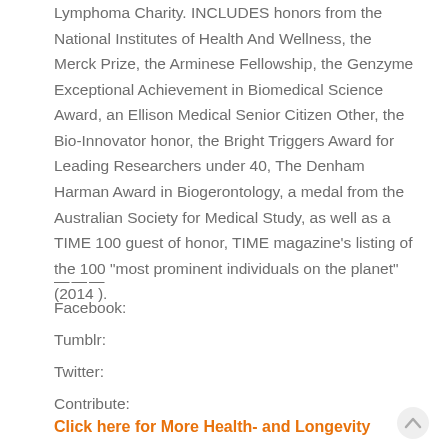Lymphoma Charity. INCLUDES honors from the National Institutes of Health And Wellness, the Merck Prize, the Arminese Fellowship, the Genzyme Exceptional Achievement in Biomedical Science Award, an Ellison Medical Senior Citizen Other, the Bio-Innovator honor, the Bright Triggers Award for Leading Researchers under 40, The Denham Harman Award in Biogerontology, a medal from the Australian Society for Medical Study, as well as a TIME 100 guest of honor, TIME magazine's listing of the 100 "most prominent individuals on the planet" (2014 ).
———
Facebook:
Tumblr:
Twitter:
Contribute:
Click here for More Health- and Longevity